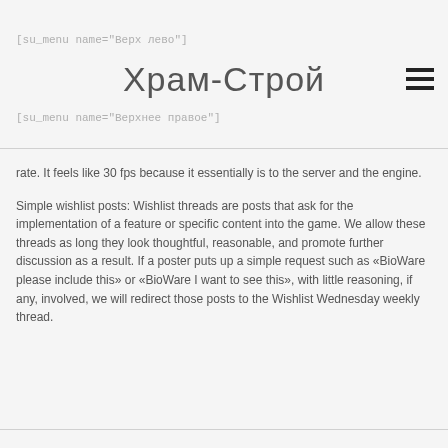[su_menu name="Верх лево"]
Храм-Строй
[su_menu name="Верхнее правое"]
rate. It feels like 30 fps because it essentially is to the server and the engine.
Simple wishlist posts: Wishlist threads are posts that ask for the implementation of a feature or specific content into the game. We allow these threads as long they look thoughtful, reasonable, and promote further discussion as a result. If a poster puts up a simple request such as «BioWare please include this» or «BioWare I want to see this», with little reasoning, if any, involved, we will redirect those posts to the Wishlist Wednesday weekly thread.